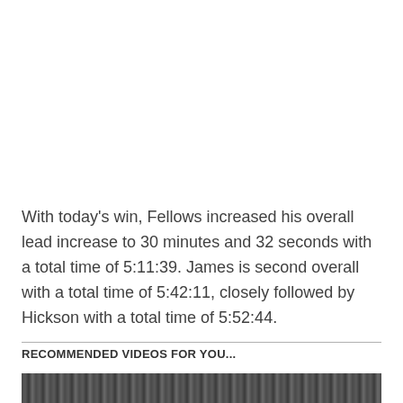With today's win, Fellows increased his overall lead increase to 30 minutes and 32 seconds with a total time of 5:11:39. James is second overall with a total time of 5:42:11, closely followed by Hickson with a total time of 5:52:44.
RECOMMENDED VIDEOS FOR YOU...
[Figure (photo): Partially visible dark video thumbnail at bottom of page]